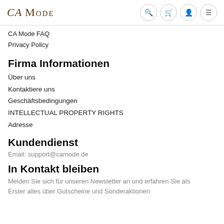CA MODE
CA Mode FAQ
Privacy Policy
Firma Informationen
Über uns
Kontaktiere uns
Geschäftsbedingungen
INTELLECTUAL PROPERTY RIGHTS
Adresse
Kundendienst
Email: support@camode.de
In Kontakt bleiben
Melden Sie sich für unseren Newsletter an und erfahren Sie als Erster alles über Gutscheine und Sonderaktionen